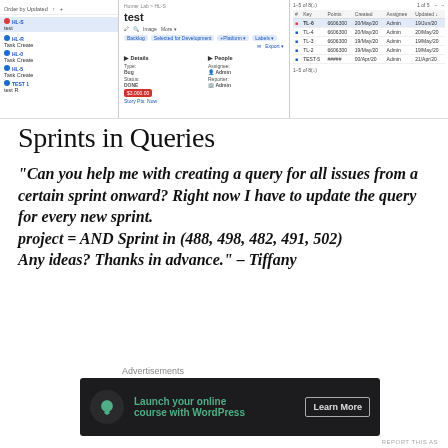[Figure (screenshot): Two-panel screenshot of a project management tool (Jira-like). Left panel shows a list of issues including 'test', 'Task Create', 'Task Create', 'Task Create', 'test R'. Middle panel shows an issue detail view titled 'test' with fields including Type, Status, Story Points, Assignee, and Reporter. Right panel shows a table of issues with columns: #, Key, Points, Created, Assignee, Updated, with rows for items TL-6, TL-4, TL-3, TL-2, TEST-5.]
Sprints in Queries
“Can you help me with creating a query for all issues from a certain sprint onward? Right now I have to update the query for every new sprint.
project = AND Sprint in (488, 498, 482, 491, 502)
Any ideas? Thanks in advance.” – Tiffany
Advertisements
[Figure (screenshot): Advertisement banner with dark background showing a bonsai tree icon, text 'Launch your online course with WordPress', and a 'Learn More' button.]